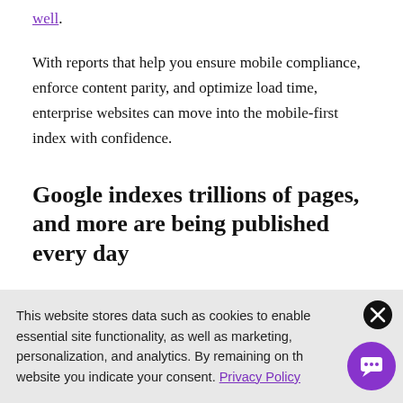well.
With reports that help you ensure mobile compliance, enforce content parity, and optimize load time, enterprise websites can move into the mobile-first index with confidence.
Google indexes trillions of pages, and more are being published every day
Both the web and Google’s index of the web are growing daily. According to Google, “Search starts with
This website stores data such as cookies to enable essential site functionality, as well as marketing, personalization, and analytics. By remaining on this website you indicate your consent. Privacy Policy